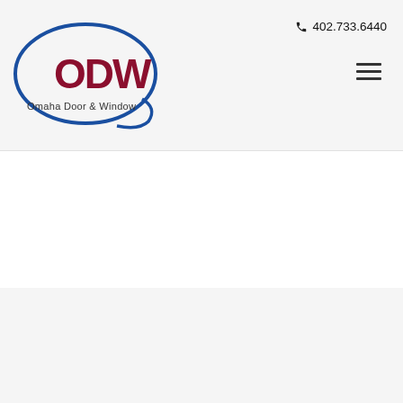[Figure (logo): ODW Omaha Door & Window logo — dark red ODW text inside a blue oval ellipse, with 'Omaha Door & Window' text below in dark gray]
402.733.6440
CONTACT INFORMATION
Address
4665 G St. Omaha, NE 68117
Phone Number: